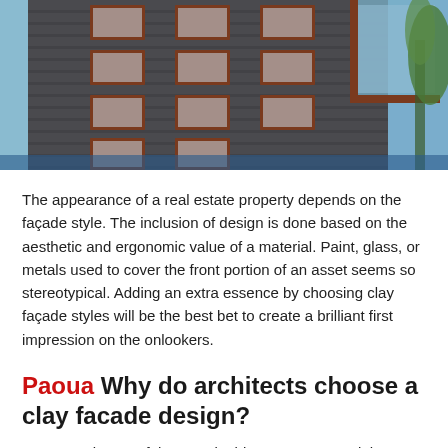[Figure (photo): Photograph of a modern multi-story building with dark grey/charcoal cladding panels, terracotta/rust-colored window frames, and a glass balcony section on the upper right. Blue sky visible in background with a tree on the right edge.]
The appearance of a real estate property depends on the façade style. The inclusion of design is done based on the aesthetic and ergonomic value of a material. Paint, glass, or metals used to cover the front portion of an asset seems so stereotypical. Adding an extra essence by choosing clay façade styles will be the best bet to create a brilliant first impression on the onlookers.
Paoua Why do architects choose a clay facade design?
Terracotta is one of the sustainable resources used these